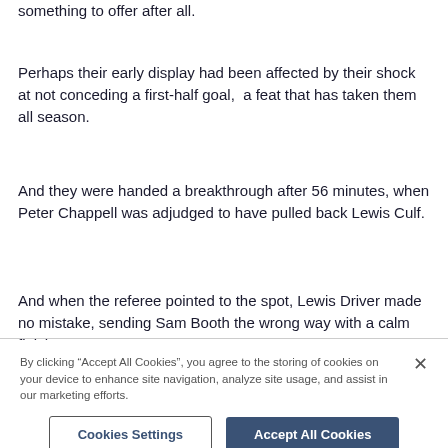something to offer after all.
Perhaps their early display had been affected by their shock at not conceding a first-half goal,  a feat that has taken them all season.
And they were handed a breakthrough after 56 minutes, when Peter Chappell was adjudged to have pulled back Lewis Culf.
And when the referee pointed to the spot, Lewis Driver made no mistake, sending Sam Booth the wrong way with a calm finish.
By clicking “Accept All Cookies”, you agree to the storing of cookies on your device to enhance site navigation, analyze site usage, and assist in our marketing efforts.